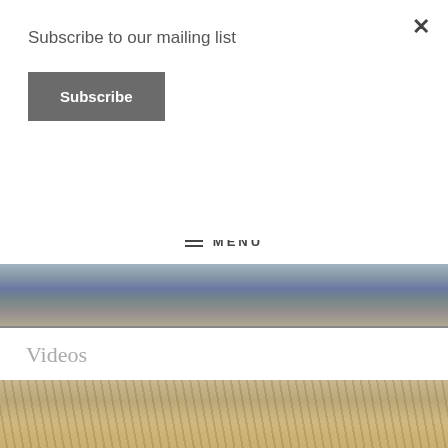Subscribe to our mailing list
Subscribe
×
[Figure (photo): Outdoor nature/landscape background strip with greenery, partially visible black bar element]
≡  MENU
[Figure (photo): Blurred outdoor photo showing people and dry vegetation against a light sky]
Videos
[Figure (photo): Dried autumn vegetation/branches in muted warm tones]
In the Studio with The Asking
Posted on March 7, 2018